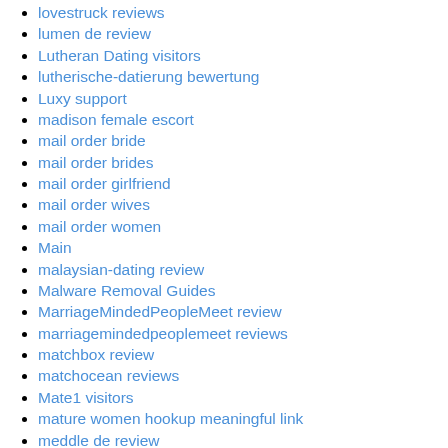lovestruck reviews
lumen de review
Lutheran Dating visitors
lutherische-datierung bewertung
Luxy support
madison female escort
mail order bride
mail order brides
mail order girlfriend
mail order wives
mail order women
Main
malaysian-dating review
Malware Removal Guides
MarriageMindedPeopleMeet review
marriagemindedpeoplemeet reviews
matchbox review
matchocean reviews
Mate1 visitors
mature women hookup meaningful link
meddle de review
Meet Gorgeous Brides
Meet Internet Brides
meet japanese women
Meet24 prihlasit se